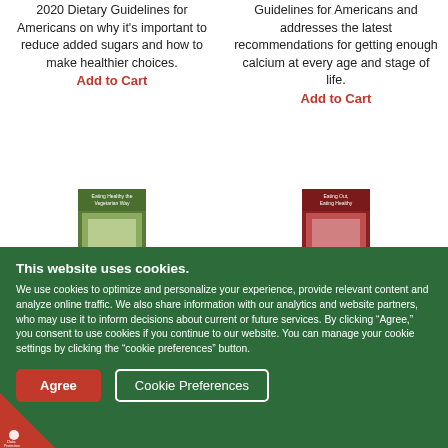2020 Dietary Guidelines for Americans on why it's important to reduce added sugars and how to make healthier choices.
Add to Cart
Guidelines for Americans and addresses the latest recommendations for getting enough calcium at every age and stage of life.
Add to Cart
[Figure (illustration): Book cover: Eating Healthy the Vegetarian Way]
[Figure (illustration): Book cover: Eating Out, Eating Healthy]
This website uses cookies.
We use cookies to optimize and personalize your experience, provide relevant content and analyze online traffic. We also share information with our analytics and website partners, who may use it to inform decisions about current or future services. By clicking “Agree,” you consent to use cookies if you continue to our website. You can manage your cookie settings by clicking the “cookie preferences” button.
Agree
Cookie Preferences
[Figure (logo): Data Protection Settings badge in bottom left corner]